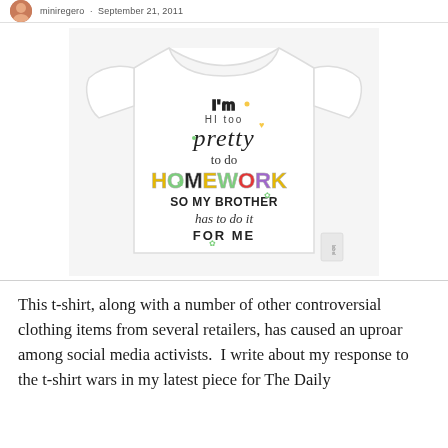miniregero · September 21, 2011
[Figure (photo): White long-sleeve children's t-shirt with colorful text reading: I'm too pretty to do HOMEWORK so my brother has to do it FOR ME]
This t-shirt, along with a number of other controversial clothing items from several retailers, has caused an uproar among social media activists.  I write about my response to the t-shirt wars in my latest piece for The Daily